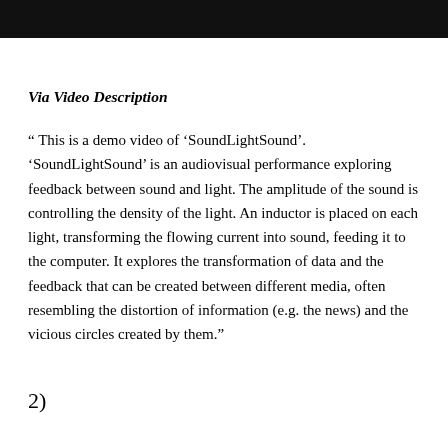[Figure (other): Black bar at top of page]
Via Video Description
" This is a demo video of ‘SoundLightSound’. ‘SoundLightSound’ is an audiovisual performance exploring feedback between sound and light. The amplitude of the sound is controlling the density of the light. An inductor is placed on each light, transforming the flowing current into sound, feeding it to the computer. It explores the transformation of data and the feedback that can be created between different media, often resembling the distortion of information (e.g. the news) and the vicious circles created by them.”
2)